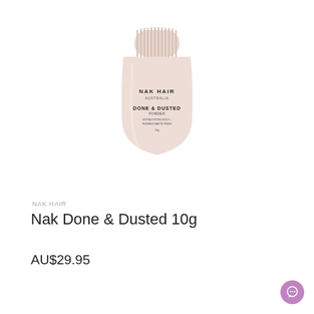[Figure (photo): A small squat round bottle of NAK HAIR Australia 'Done & Dusted' hair powder, 10g. The bottle is pale blush/beige with a ridged cap and the product name and brand printed in dark text on the front.]
NAK HAIR
Nak Done & Dusted 10g
AU$29.95